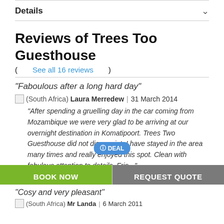Details
Reviews of Trees Too Guesthouse
(See all 16 reviews)
"Faboulous after a long hard day"
(South Africa) Laura Merredew | 31 March 2014
"After spending a gruelling day in the car coming from Mozambique we were very glad to be arriving at our overnight destination in Komatipoort. Trees Two Guesthouse did not disappoint. I have stayed in the area many times and really enjoyed this spot. Clean with fabulous attention to details. Frie..."
DEAL
BOOK NOW
REQUEST QUOTE
"Cosy and very pleasant"
(South Africa) Mr Landa | 6 March 2011